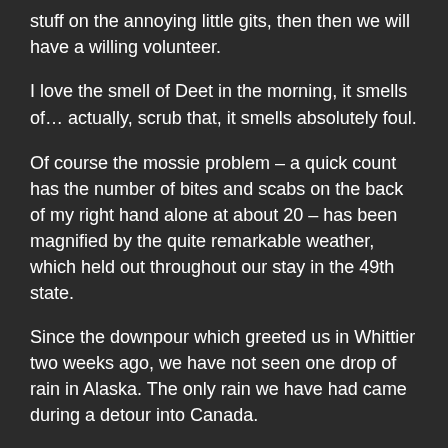stuff on the annoying little gits, then then we will have a willing volunteer.
[Inside Passage] I love the smell of Deet in the morning, it smells of… actually, scrub that, it smells absolutely foul.
Of course the mossie problem – a quick count has the number of bites and scabs on the back of my right hand alone at about 20 – has been magnified by the quite remarkable weather, which held out throughout our stay in the 49th state.
Since the downpour which greeted us in Whittier two weeks ago, we have not seen one drop of rain in Alaska. The only rain we have had came during a detour into Canada.
We have had some cold nights, particularly as we edged to within 140 miles of the Arctic Circle, but the days have